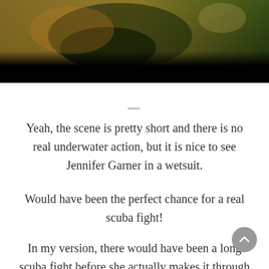[Figure (photo): Underwater or dark greenish-toned scene with a figure, partially cropped. Bottom portion is black.]
—
Yeah, the scene is pretty short and there is no real underwater action, but it is nice to see Jennifer Garner in a wetsuit.
Would have been the perfect chance for a real scuba fight!
In my version, there would have been a long scuba fight before she actually makes it through that